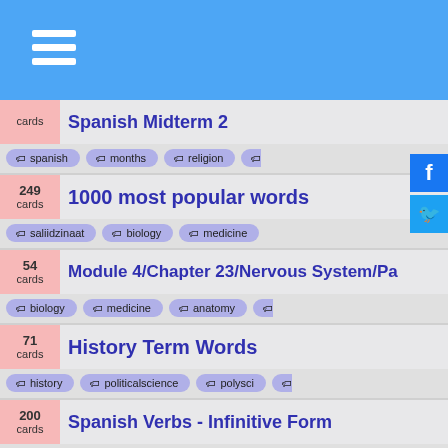Navigation header with hamburger menu
Spanish Midterm 2 — cards: [spanish, months, religion]
249 cards — 1000 most popular words — tags: saliidzinaat, biology, medicine
54 cards — Module 4/Chapter 23/Nervous System/Pa — tags: biology, medicine, anatomy
71 cards — History Term Words — tags: history, politicalscience, polysci
200 cards — Spanish Verbs - Infinitive Form — tags: spanish, infinitive, verbs
159 cards — A B 3 — tags: medical, medicine, animals
247 cards — BARRON SET#15 — tags: barron, spanish, verbs, re...